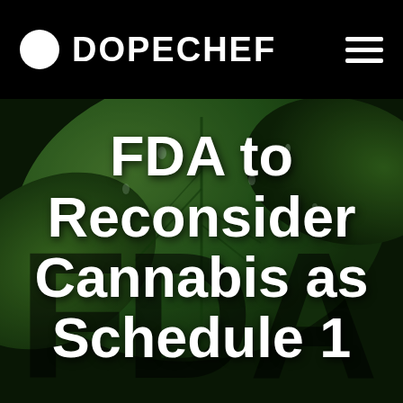DOPECHEF
[Figure (photo): Close-up photo of green cannabis/plant leaves with water droplets, overlaid with a dark FDA watermark logo in the background]
FDA to Reconsider Cannabis as Schedule 1